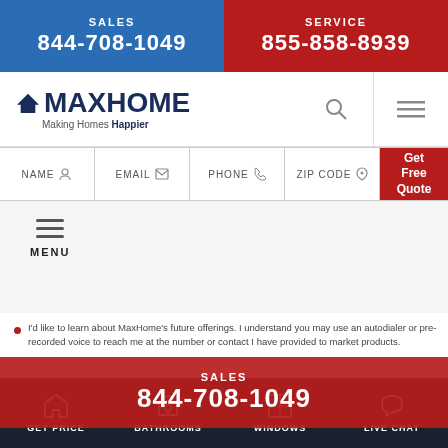SALES 844-708-1049 | SERVICE 855-858-8939
[Figure (logo): MaxHome logo with house icon and tagline 'Making Homes Happier']
[Figure (screenshot): Search icon and hamburger menu icon in navigation bar]
NAME | EMAIL | PHONE | ZIP CODE | Get Free Quote
[Figure (screenshot): Hamburger menu icon with MENU label below]
I'd like to learn about MaxHome's future offerings. I understand you may use an autodialer or pre-recorded voice to reach me at the number or contact I have provided to market products.
SALES 844-708-1049
GET PRICE | BATHROOMS | WINDOWS | LIVE CHAT